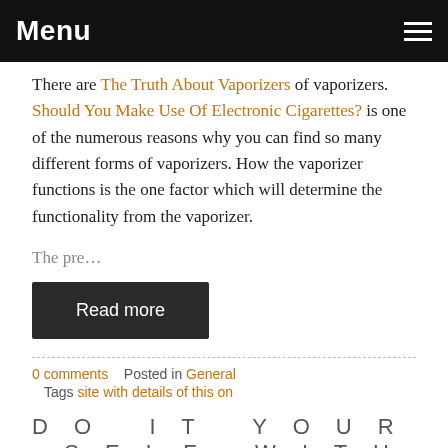Menu
There are The Truth About Vaporizers of vaporizers. Should You Make Use Of Electronic Cigarettes? is one of the numerous reasons why you can find so many different forms of vaporizers. How the vaporizer functions is the one factor which will determine the functionality from the vaporizer.
The pre…
Read more
0 comments   Posted in General
Tags site with details of this on
DO IT YOUR SELF WITH